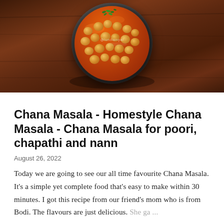[Figure (photo): Overhead view of a metal bowl filled with Chana Masala (chickpea curry in orange-red sauce) garnished with fresh cilantro, placed on a wooden surface. Watermark text visible on the dish.]
Chana Masala - Homestyle Chana Masala - Chana Masala for poori, chapathi and nann
August 26, 2022
Today we are going to see our all time favourite Chana Masala. It's a simple yet complete food that's easy to make within 30 minutes. I got this recipe from our friend's mom who is from Bodi. The flavours are just delicious. She ga ...